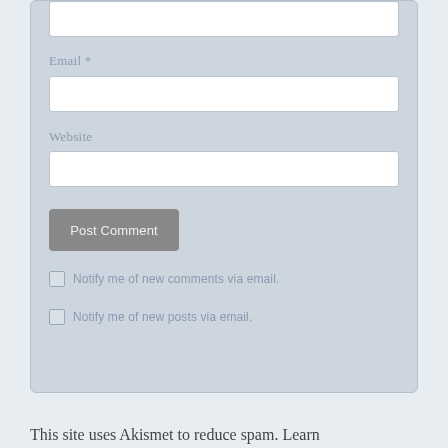Email *
Website
Post Comment
Notify me of new comments via email.
Notify me of new posts via email.
This site uses Akismet to reduce spam. Learn